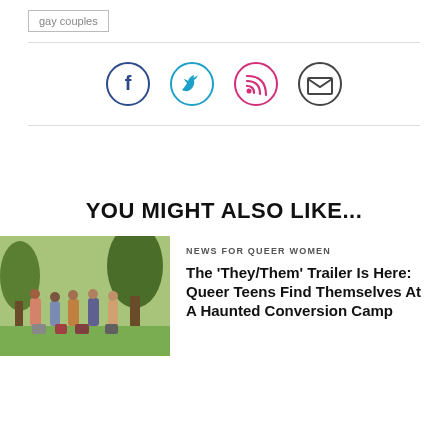gay couples
[Figure (infographic): Four social media icon circles: Facebook (dark blue), Twitter (cyan), RSS (pink/magenta), Email (dark grey)]
YOU MIGHT ALSO LIKE...
[Figure (photo): Group of teenagers standing outdoors near trees with luggage]
NEWS FOR QUEER WOMEN
The ‘They/Them’ Trailer Is Here: Queer Teens Find Themselves At A Haunted Conversion Camp